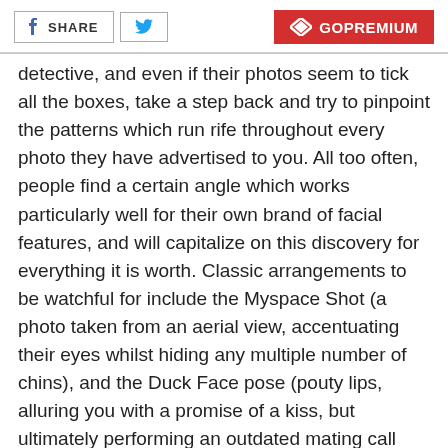f SHARE | [twitter] | GOPREMIUM
detective, and even if their photos seem to tick all the boxes, take a step back and try to pinpoint the patterns which run rife throughout every photo they have advertised to you. All too often, people find a certain angle which works particularly well for their own brand of facial features, and will capitalize on this discovery for everything it is worth. Classic arrangements to be watchful for include the Myspace Shot (a photo taken from an aerial view, accentuating their eyes whilst hiding any multiple number of chins), and the Duck Face pose (pouty lips, alluring you with a promise of a kiss, but ultimately performing an outdated mating call trend, which was popular back in 2009).
Other characteristics to be wary of are the over-usage of